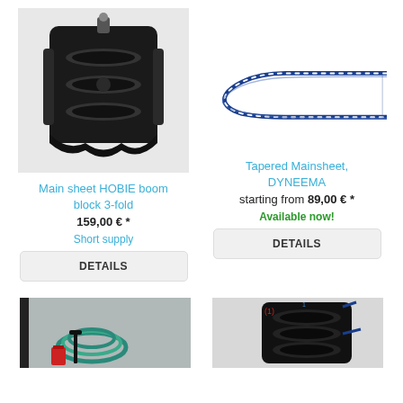[Figure (photo): Black multi-fold boom block pulley (Main sheet HOBIE boom block 3-fold)]
[Figure (photo): Blue and white braided rope folded in U-shape (Tapered Mainsheet, DYNEEMA)]
Main sheet HOBIE boom block 3-fold
159,00 € *
Short supply
DETAILS
Tapered Mainsheet, DYNEEMA
starting from 89,00 € *
Available now!
DETAILS
[Figure (photo): Coiled teal/green rope with small accessories]
[Figure (photo): Black multi-fold pulley block with blue rope, marked with (1)]